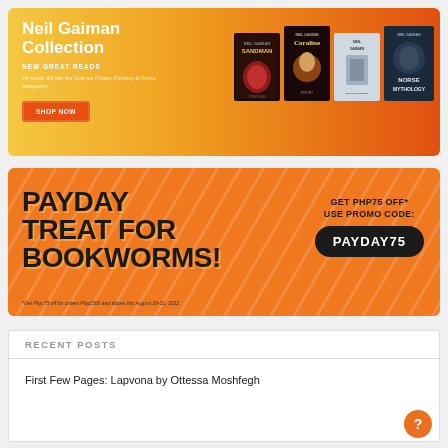[Figure (infographic): Neil Gaiman Collection promotional banner with gradient orange background, white bold title 'Neil Gaiman Collection', subtitle 'NEW GREAT READS', description text 'He reads fall into the Science Fiction, Fantasy & Horror categories', orange SHOP NOW button, and 4 book covers on the right (Sandman, Coraline, The Graveyard Book, Norse Mythology)]
[Figure (infographic): Payday Treat for Bookworms promotional banner on orange background with large bold text 'PAYDAY TREAT FOR BOOKWORMS!', right side shows 'GET PHP75 OFF* USE PROMO CODE: PAYDAY75' in dark pill-shaped box, fine print at bottom '*Get Php 75 off for orders Php1500 and above this August 29-31, 2022']
RECENT POSTS
First Few Pages: Lapvona by Ottessa Moshfegh